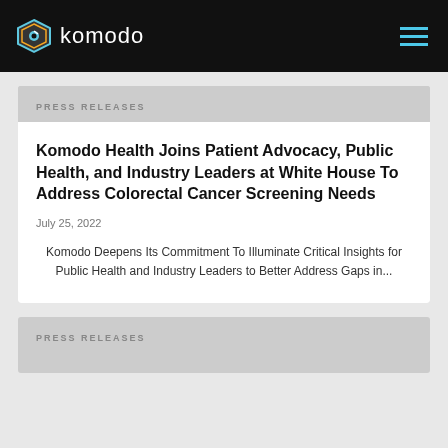komodo
PRESS RELEASES
Komodo Health Joins Patient Advocacy, Public Health, and Industry Leaders at White House To Address Colorectal Cancer Screening Needs
July 25, 2022
Komodo Deepens Its Commitment To Illuminate Critical Insights for Public Health and Industry Leaders to Better Address Gaps in...
PRESS RELEASES